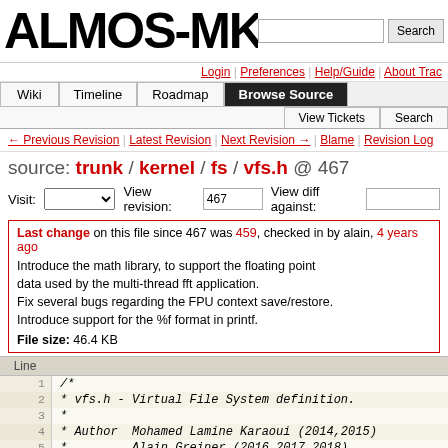ALMOS-MKH — Search
Login | Preferences | Help/Guide | About Trac
Wiki | Timeline | Roadmap | Browse Source | View Tickets | Search
← Previous Revision | Latest Revision | Next Revision → | Blame | Revision Log
source: trunk / kernel / fs / vfs.h @ 467
Visit: [dropdown] View revision: 467 View diff against: [input]
Last change on this file since 467 was 459, checked in by alain, 4 years ago
Introduce the math library, to support the floating point data used by the multi-thread fft application.
Fix several bugs regarding the FPU context save/restore.
Introduce support for the %f format in printf.
File size: 46.4 KB
| Line |  |
| --- | --- |
| 1 | /* |
| 2 |  * vfs.h - Virtual File System definition. |
| 3 |  * |
| 4 |  * Author  Mohamed Lamine Karaoui (2014,2015) |
| 5 |  *         Alain Greiner (2016,2017,2018) |
| 6 |  * |
| 7 |  * Copyright (c) UPMC Sorbonne Universites |
| 8 |  * |
| 9 |  * This file is part of ALMOS-MKH. |
| 10 |  * |
| 11 |  * ALMOS-MKH is free software; you can redistribute it |